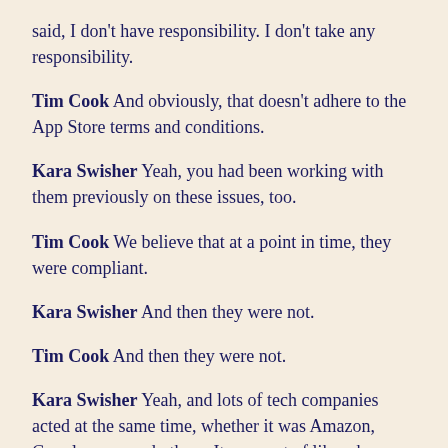said, I don't have responsibility. I don't take any responsibility.
Tim Cook And obviously, that doesn't adhere to the App Store terms and conditions.
Kara Swisher Yeah, you had been working with them previously on these issues, too.
Tim Cook We believe that at a point in time, they were compliant.
Kara Swisher And then they were not.
Tim Cook And then they were not.
Kara Swisher Yeah, and lots of tech companies acted at the same time, whether it was Amazon, Google, you, and others. It was sort of like a house of cards sort of fell in on them. Should it have been done before?
Tim Cook It happened as soon as we became aware of it. And like any other position, let me just...